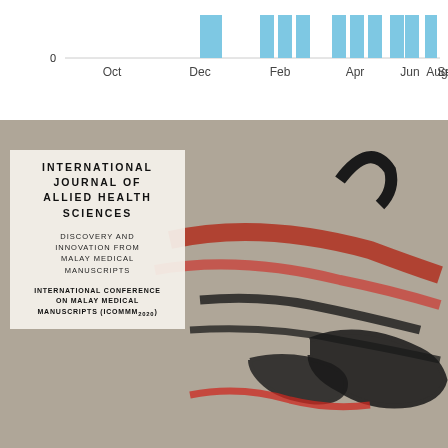[Figure (bar-chart): Monthly submissions chart]
[Figure (photo): Photo of a Malay medical manuscript showing Arabic calligraphy in black and red ink on aged paper, with an overlaid journal cover card for the International Journal of Allied Health Sciences featuring ICOMMM2020 conference.]